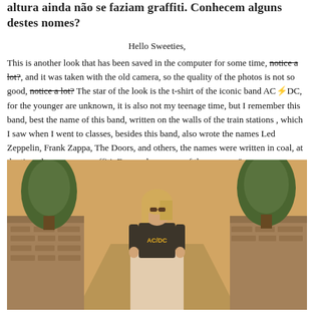altura ainda não se faziam graffiti. Conhecem alguns destes nomes?
Hello Sweeties,
This is another look that has been saved in the computer for some time, notice a lot?, and it was taken with the old camera, so the quality of the photos is not so good, notice a lot? The star of the look is the t-shirt of the iconic band AC⚡DC, for the younger are unknown, it is also not my teenage time, but I remember this band, best the name of this band, written on the walls of the train stations , which I saw when I went to classes, besides this band, also wrote the names Led Zeppelin, Frank Zappa, The Doors, and others, the names were written in coal, at the time there was no graffiti. Do you know any of these names?
[Figure (photo): A woman wearing an AC/DC t-shirt and a long flowing light-colored skirt, standing on a stone pathway surrounded by trees and stone walls, photographed outdoors in warm sunlight.]